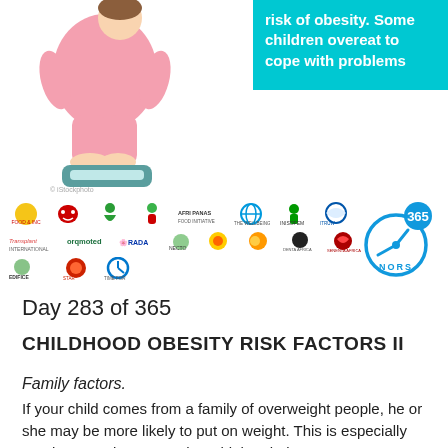[Figure (illustration): Cartoon illustration of an overweight child standing on a weight scale, wearing pink clothes]
risk of obesity. Some children overeat to cope with problems
[Figure (logo): Multiple organization logos arranged in rows, and NORS 365 logo on the right]
Day 283 of 365
CHILDHOOD OBESITY RISK FACTORS II
Family factors.
If your child comes from a family of overweight people, he or she may be more likely to put on weight. This is especially true in an environment where high-calorie